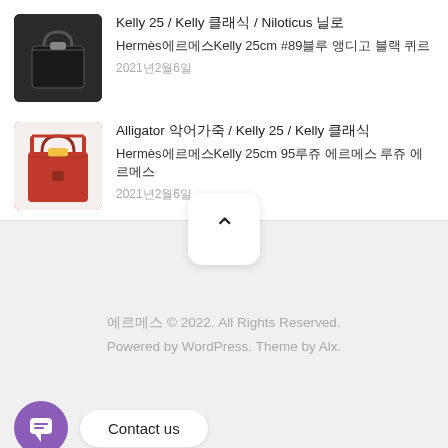Kelly 25 / Kelly 클래식 / Niloticus 닐로 Hermès에르메스Kelly 25cm #89블루 앵디고 블랙 퀴르 2021년2월6일
Alligator 악어가죽 / Kelly 25 / Kelly 클래식 Hermès에르메스Kelly 25cm 95루쥬 에르메스 루쥬 에르메스 2021년2월6일
에르메스 © 2022. All Rights Reserved. Powered by WordPress. Theme by Alx.
Contact us